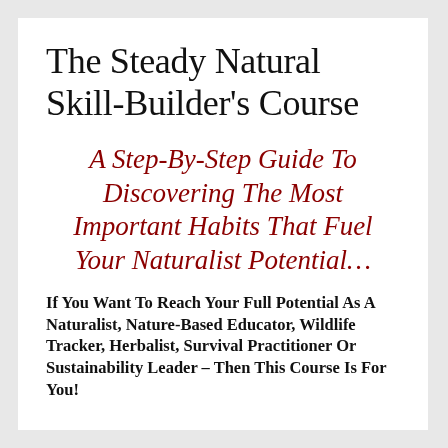The Steady Natural Skill-Builder's Course
A Step-By-Step Guide To Discovering The Most Important Habits That Fuel Your Naturalist Potential…
If You Want To Reach Your Full Potential As A Naturalist, Nature-Based Educator, Wildlife Tracker, Herbalist, Survival Practitioner Or Sustainability Leader – Then This Course Is For You!